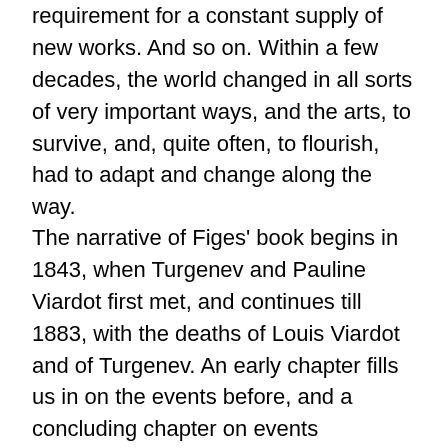requirement for a constant supply of new works. And so on. Within a few decades, the world changed in all sorts of very important ways, and the arts, to survive, and, quite often, to flourish, had to adapt and change along the way.
The narrative of Figes' book begins in 1843, when Turgenev and Pauline Viardot first met, and continues till 1883, with the deaths of Louis Viardot and of Turgenev. An early chapter fills us in on the events before, and a concluding chapter on events afterwards – focussing, naturally, on Pauline Viardot who lost the two men in her life within a few months of each other. Their story, fascinating in itself (all three were remarkable figures) is particularly appropriate for a book that is essentially about European culture, since they were the most cosmopolitan of people. Turgenev was Russian, Louis Viardot was French, and Pauline Garcia was Spanish, but they all